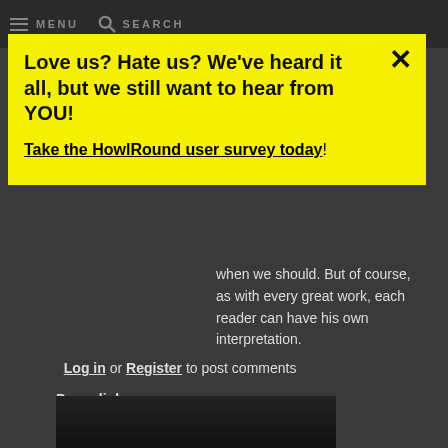MENU  SEARCH
Love us? Hate us? We've heard it all, but we still want to hear from YOU!
Take the HowlRound user survey today!
when we should. But of course, as with every great work, each reader can have his own interpretation.
Log in or Register to post comments
Permalink
[Figure (screenshot): Partially visible dark image at bottom of page]